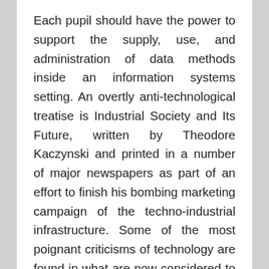Each pupil should have the power to support the supply, use, and administration of data methods inside an information systems setting. An overtly anti-technological treatise is Industrial Society and Its Future, written by Theodore Kaczynski and printed in a number of major newspapers as part of an effort to finish his bombing marketing campaign of the techno-industrial infrastructure. Some of the most poignant criticisms of technology are found in what are now considered to be dystopian literary classics, for instance Aldous Huxley's Brave New World and different writings, Anthony Burgess's A Clockwork Orange, and George Orwell's Nineteen Eighty-Four.